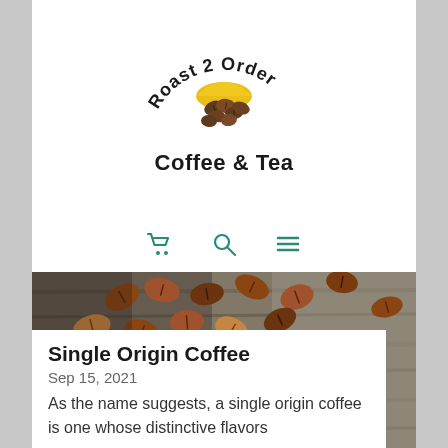[Figure (logo): Roast 2 Order Coffee & Tea logo with arched text and coffee beans under a golden sun arc]
Coffee & Tea
[Figure (other): Navigation bar with cart icon, search icon, and hamburger menu icon in teal color]
[Figure (photo): Close-up photograph of coffee beans scattered on a weathered wooden surface]
Single Origin Coffee
Sep 15, 2021
As the name suggests, a single origin coffee is one whose distinctive flavors